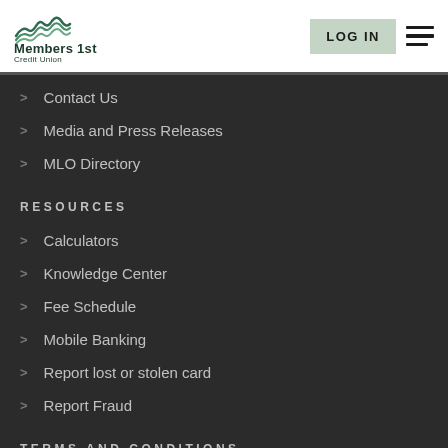[Figure (logo): Members 1st Credit Union logo with mountain/wave graphic in dark green]
Contact Us
Media and Press Releases
MLO Directory
RESOURCES
Calculators
Knowledge Center
Fee Schedule
Mobile Banking
Report lost or stolen card
Report Fraud
TERMS AND CONDITIONS